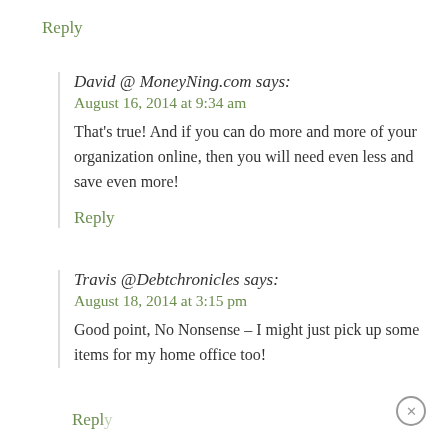Reply
David @ MoneyNing.com says:
August 16, 2014 at 9:34 am
That’s true! And if you can do more and more of your organization online, then you will need even less and save even more!
Reply
Travis @Debtchronicles says:
August 18, 2014 at 3:15 pm
Good point, No Nonsense – I might just pick up some items for my home office too!
Reply